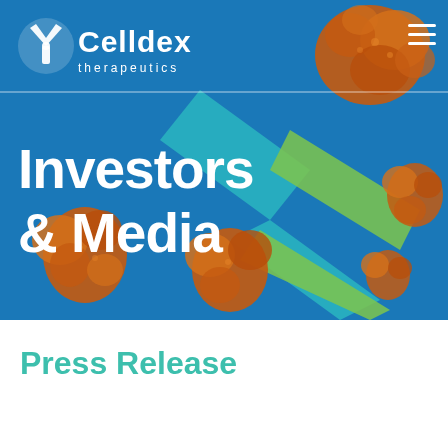[Figure (illustration): Celldex Therapeutics website header banner showing blue background with teal and green geometric X-shape, orange/brown cell or protein molecules floating, with company logo and navigation hamburger menu. Text overlay reads 'Investors & Media'.]
Press Release